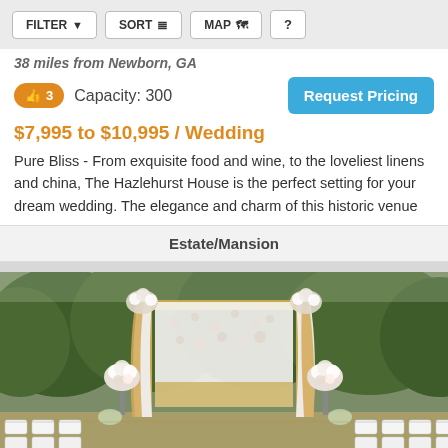FILTER  SORT  MAP  ?
38 miles from Newborn, GA
👍 3   Capacity: 300
Request Pricing
$7,995 to $10,995 / Wedding
Pure Bliss - From exquisite food and wine, to the loveliest linens and china, The Hazlehurst House is the perfect setting for your dream wedding. The elegance and charm of this historic venue
Estate/Mansion
[Figure (photo): Outdoor wedding ceremony setup with a decorated arch/chuppah featuring white draping and gold fabric, flanked by floral arrangements on stands, with white chairs arranged in rows, set against a backdrop of green trees.]